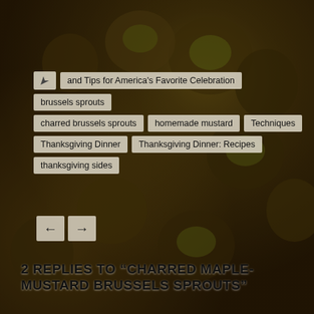[Figure (photo): Background photo of charred roasted brussels sprouts in a bowl]
and Tips for America's Favorite Celebration
brussels sprouts
charred brussels sprouts
homemade mustard
Techniques
Thanksgiving Dinner
Thanksgiving Dinner: Recipes
thanksgiving sides
2 REPLIES TO “CHARRED MAPLE-MUSTARD BRUSSELS SPROUTS”
Diane says:
November 30, 2013 at 8:00 am
I loved these!!